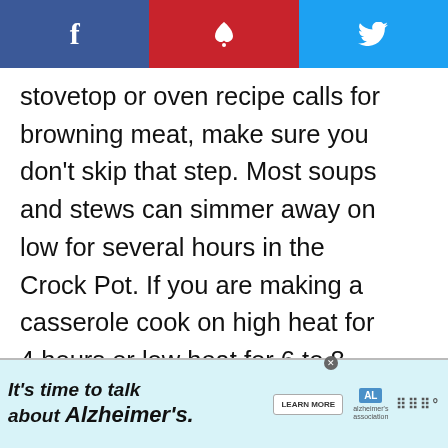f  p  twitter share icons
stovetop or oven recipe calls for browning meat, make sure you don't skip that step. Most soups and stews can simmer away on low for several hours in the Crock Pot. If you are making a casserole cook on high heat for 4 hours or low heat for 6 to 8 hours.
[Figure (infographic): Heart/like button showing 15.3K and a share button on the right side]
[Figure (infographic): What's Next panel with food photo thumbnail and text 'Easy Crock Pot Pork...']
[Figure (infographic): Advertisement banner: It's time to talk about Alzheimer's. Learn More. Alzheimer's association logo.]